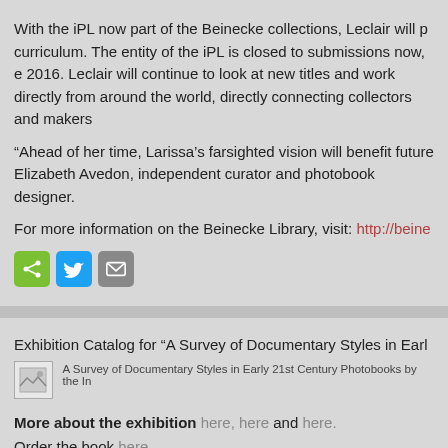With the iPL now part of the Beinecke collections, Leclair will p curriculum. The entity of the iPL is closed to submissions now, e 2016. Leclair will continue to look at new titles and work directly from around the world, directly connecting collectors and makers
“Ahead of her time, Larissa’s farsighted vision will benefit future Elizabeth Avedon, independent curator and photobook designer.
For more information on the Beinecke Library, visit: http://beine
[Figure (other): Share buttons: green share icon, blue Twitter bird icon, gray email icon]
Exhibition Catalog for “A Survey of Documentary Styles in Earl
[Figure (photo): Small thumbnail image placeholder]
A Survey of Documentary Styles in Early 21st Century Photobooks by the In
More about the exhibition here, here and here. Order the book here. Thank you to Patrick Aguilar of Owl & Tiger Books who did suc catalog!
[Figure (other): Share buttons: green share icon, blue Twitter bird icon, gray email icon]